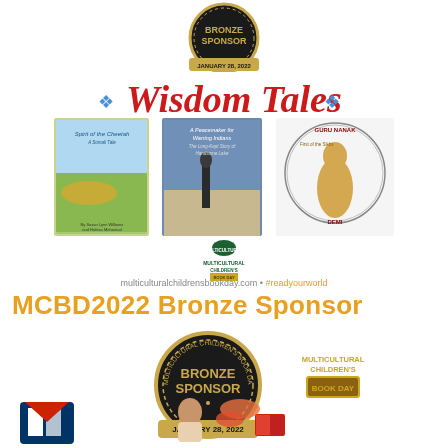[Figure (logo): Multicultural Children's Book Day Bronze Sponsor badge for January 28, 2022 (top, partial)]
[Figure (logo): Wisdom Tales publisher logo in red decorative script with blue dot ornaments]
[Figure (illustration): Three children's book covers: Spirit of the Cheetah, A Peacemaker for Warring Indians, and Guru Nanak First of the Sikhs by Demi; plus Multicultural Children's Book Day small badge]
multiculturalchildrensbookday.com • #readyourworld
MCBD2022 Bronze Sponsor
[Figure (logo): Multicultural Children's Book Day Bronze Sponsor badge for January 28, 2022 (bottom center)]
[Figure (logo): Multicultural Children's Book Day logo (bottom right)]
[Figure (logo): Small publisher or organization logo (bottom left)]
[Figure (illustration): Small illustration or logo at bottom center]